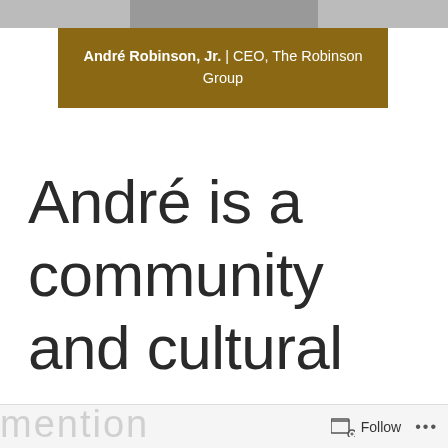[Figure (photo): Partial cropped photo strip at the top of the page]
André Robinson, Jr. | CEO, The Robinson Group
André is a community and cultural
Follow ...